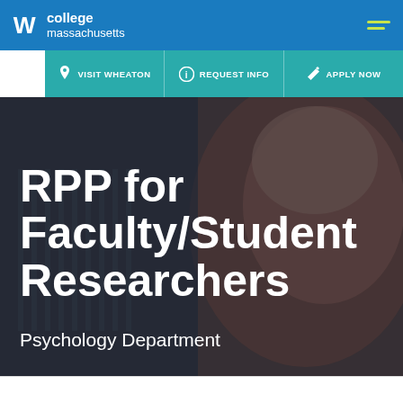Wheaton College Massachusetts — VISIT WHEATON | REQUEST INFO | APPLY NOW
RPP for Faculty/Student Researchers
Psychology Department
[Figure (photo): Background photo of an anatomical model (human head/face cross-section) with a blurred laboratory setting, overlaid with dark blue tint.]